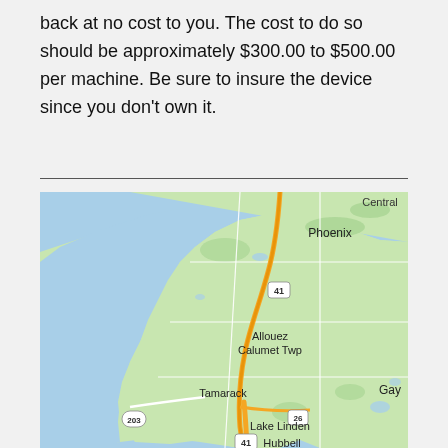back at no cost to you. The cost to do so should be approximately $300.00 to $500.00 per machine. Be sure to insure the device since you don't own it.
[Figure (map): Google Maps view of Keweenaw Peninsula area in Michigan showing towns: Central, Phoenix, Allouez, Calumet Twp, Tamarack, Lake Linden, Hubbell, Gay, with highways 41, 26, and 203 marked.]